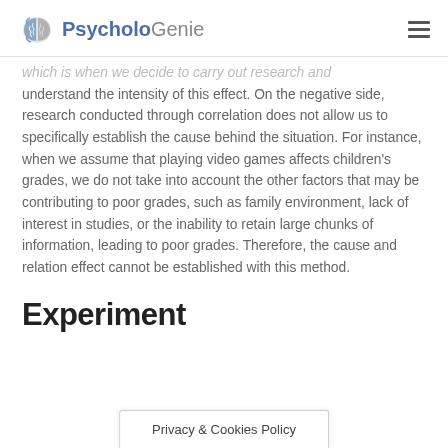PsycholoGenie
which is when we decide to carry out research and understand the intensity of this effect. On the negative side, research conducted through correlation does not allow us to specifically establish the cause behind the situation. For instance, when we assume that playing video games affects children's grades, we do not take into account the other factors that may be contributing to poor grades, such as family environment, lack of interest in studies, or the inability to retain large chunks of information, leading to poor grades. Therefore, the cause and relation effect cannot be established with this method.
Experiment
Privacy & Cookies Policy